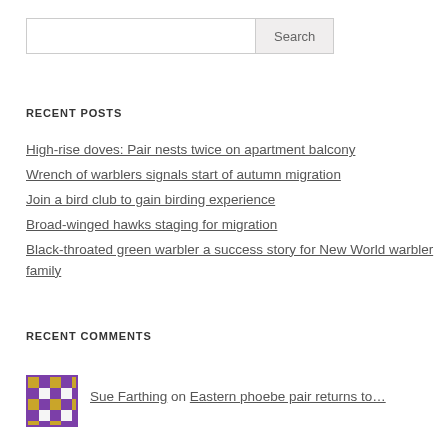[Figure (other): Search input box with Search button]
RECENT POSTS
High-rise doves: Pair nests twice on apartment balcony
Wrench of warblers signals start of autumn migration
Join a bird club to gain birding experience
Broad-winged hawks staging for migration
Black-throated green warbler a success story for New World warbler family
RECENT COMMENTS
Sue Farthing on Eastern phoebe pair returns to…